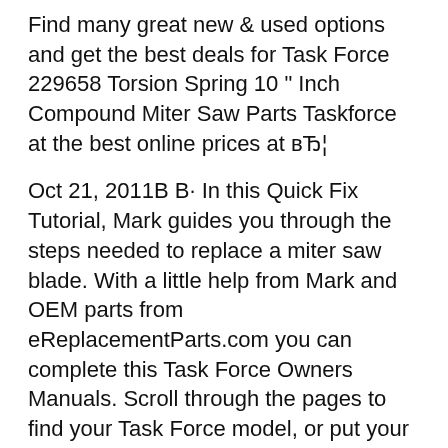Find many great new & used options and get the best deals for Task Force 229658 Torsion Spring 10 " Inch Compound Miter Saw Parts Taskforce at the best online prices at вЂ¦
Oct 21, 2011В В· In this Quick Fix Tutorial, Mark guides you through the steps needed to replace a miter saw blade. With a little help from Mark and OEM parts from eReplacementParts.com you can complete this Task Force Owners Manuals. Scroll through the pages to find your Task Force model, or put your model number in the Quick Find search box at the top right hand corner of your screen.
Instruction Manual Manuel dвЂ™utilisation Manual de instrucciones FranГ§ais (16) EspaГ±ol